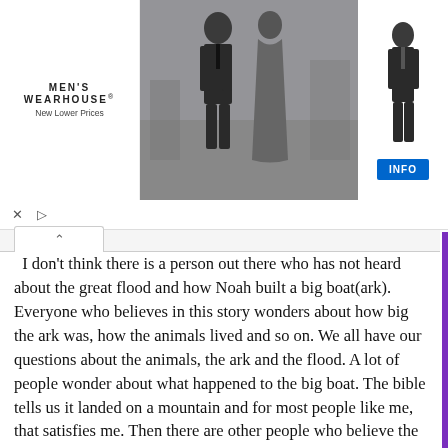[Figure (photo): Men's Wearhouse advertisement banner showing a couple in formalwear (man in tuxedo, woman in gown) in the center, a man in a suit on the right, the Men's Wearhouse logo and 'New Lower Prices' tagline on the left, and an INFO button on the right.]
I don't think there is a person out there who has not heard about the great flood and how Noah built a big boat(ark). Everyone who believes in this story wonders about how big the ark was, how the animals lived and so on. We all have our questions about the animals, the ark and the flood. A lot of people wonder about what happened to the big boat. The bible tells us it landed on a mountain and for most people like me, that satisfies me. Then there are other people who believe the ark is still up on the mountain and want to discover it. I was able to preview the movie Finding Noah last night and I was just amazed at how a group of people went on a journey to find Noah's ark. The risks these men had to take was incredible. They had to endure miles of climbing through ice and snow. These men were tough as they face freezing temperatures. It leads me to the question that I have always had. Does God want us to discover the ark? Is the ark meant for us to find? I think of the tower of Babel and how god